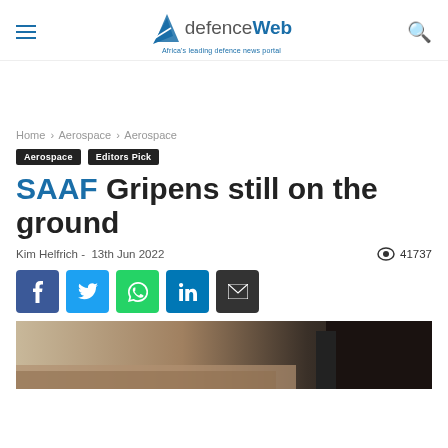defenceWeb — Africa's leading defence news portal
Home › Aerospace › Aerospace
Aerospace   Editors Pick
SAAF Gripens still on the ground
Kim Helfrich -  13th Jun 2022   👁 41737
[Figure (screenshot): Social share buttons: Facebook, Twitter, WhatsApp, LinkedIn, Email]
[Figure (photo): Partially visible photo of aircraft on ground at airfield, dark structure on right]